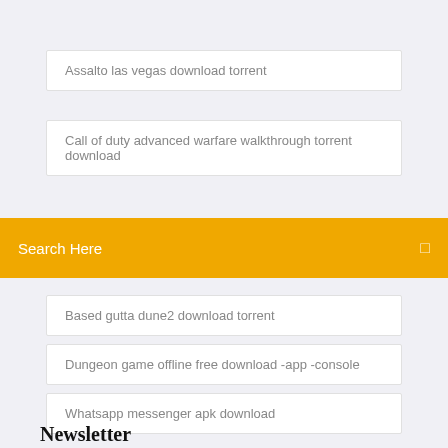Assalto las vegas download torrent
Call of duty advanced warfare walkthrough torrent download
Search Here
Based gutta dune2 download torrent
Dungeon game offline free download -app -console
Whatsapp messenger apk download
Newsletter